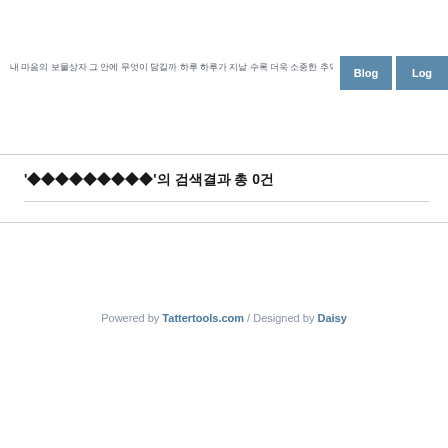내 마음의 보물상자 그 안에 무엇이 담길까 하루 하루가 지날 수록 더욱 소중한 추억이 하나 둘씩 쌓여가고 있습니다 ㅎ 언제 봐도 다시 이 기억을 꺼내어 볼수있는 우리들의 보물상자 (총 12:3)
'♦♦♦♦♦♦♦♦♦'의 검색결과 총 0건
Powered by Tattertools.com / Designed by Daisy